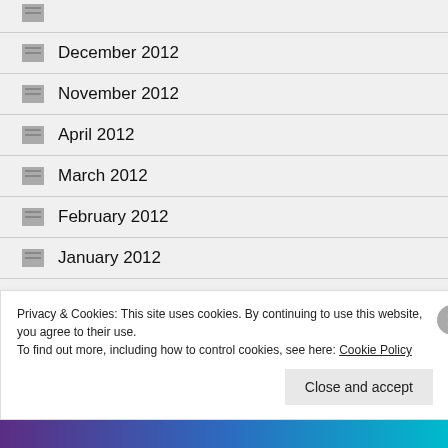December 2012
November 2012
April 2012
March 2012
February 2012
January 2012
December 2011
Privacy & Cookies: This site uses cookies. By continuing to use this website, you agree to their use.
To find out more, including how to control cookies, see here: Cookie Policy
Close and accept